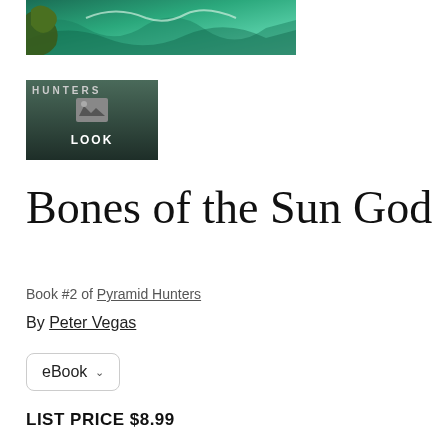[Figure (photo): Top portion of a book cover showing a green ocean wave with a creature, partial crop]
[Figure (photo): Book cover thumbnail with LOOK overlay label and mountain image icon, title 'Pyramid Hunters' partially visible at top]
Bones of the Sun God
Book #2 of Pyramid Hunters
By Peter Vegas
eBook
LIST PRICE $8.99